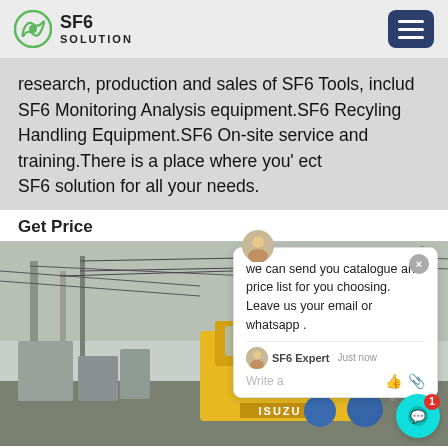SF6 SOLUTION
research, production and sales of SF6 Tools, includ SF6 Monitoring Analysis equipment.SF6 Recyling Handling Equipment.SF6 On-site service and training.There is a place where you' ect SF6 solution for all your needs.
Get Price
[Figure (photo): Workers in blue hard hats standing near a yellow ISUZU truck at an electrical substation with power lines and transformer equipment]
[Figure (screenshot): Chat popup overlay with message: 'we can send you catalogue and price list for you choosing. Leave us your email or whatsapp .' with SF6 Expert label and 'just now' timestamp, write a message field with like and attachment icons]